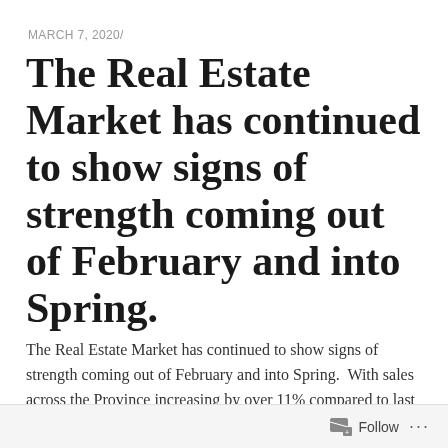MARCH 7, 2020/
The Real Estate Market has continued to show signs of strength coming out of February and into Spring.
The Real Estate Market has continued to show signs of strength coming out of February and into Spring.  With sales across the Province increasing by over 11% compared to last February, that brings the year to date sales slightly above the past five years average activity